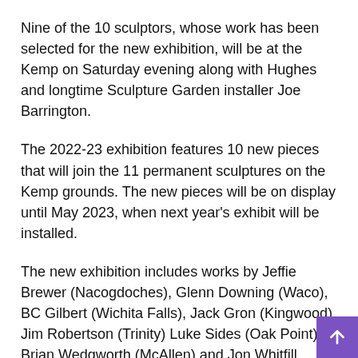Nine of the 10 sculptors, whose work has been selected for the new exhibition, will be at the Kemp on Saturday evening along with Hughes and longtime Sculpture Garden installer Joe Barrington.
The 2022-23 exhibition features 10 new pieces that will join the 11 permanent sculptures on the Kemp grounds. The new pieces will be on display until May 2023, when next year's exhibit will be installed.
The new exhibition includes works by Jeffie Brewer (Nacogdoches), Glenn Downing (Waco), BC Gilbert (Wichita Falls), Jack Gron (Kingwood), Jim Robertson (Trinity) Luke Sides (Oak Point), Brian Wedgworth (McAllen) and Jon Whitfill (Slaton). All reside in Texas.
Other new sculptures are by Frank Morbillo (Tesuque, New Mexico) and Dani Schacht (Pontotoc, Mississippi).
Saturday's event will feature live music from pianist Anthony